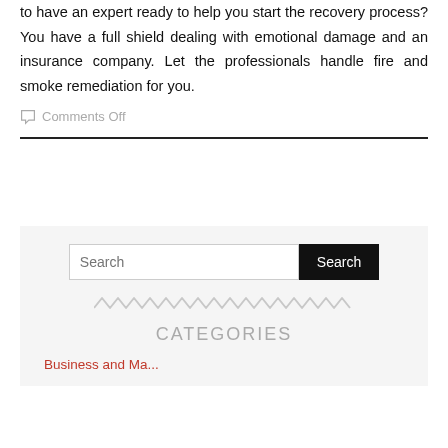to have an expert ready to help you start the recovery process? You have a full shield dealing with emotional damage and an insurance company. Let the professionals handle fire and smoke remediation for you.
Comments Off
[Figure (other): Search bar with text input field labeled 'Search' and a black 'Search' button, followed by a zigzag decorative line, a 'CATEGORIES' heading, and a category link beginning with 'Business and Ma...']